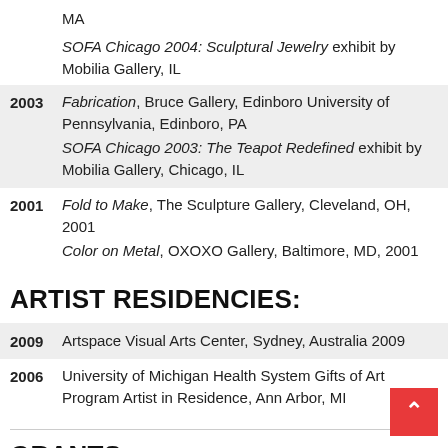MA
SOFA Chicago 2004: Sculptural Jewelry exhibit by Mobilia Gallery, IL
2003  Fabrication, Bruce Gallery, Edinboro University of Pennsylvania, Edinboro, PA
SOFA Chicago 2003: The Teapot Redefined exhibit by Mobilia Gallery, Chicago, IL
2001  Fold to Make, The Sculpture Gallery, Cleveland, OH, 2001
Color on Metal, OXOXO Gallery, Baltimore, MD, 2001
ARTIST RESIDENCIES:
2009  Artspace Visual Arts Center, Sydney, Australia 2009
2006  University of Michigan Health System Gifts of Art Program Artist in Residence, Ann Arbor, MI
GRANTS: